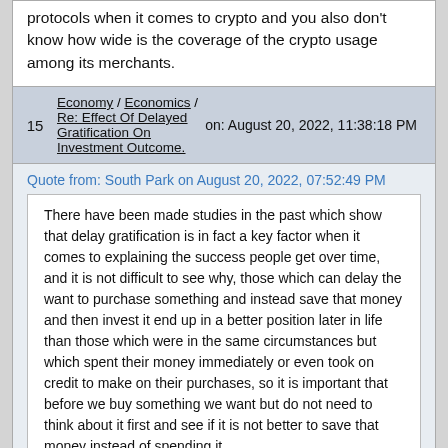protocols when it comes to crypto and you also don't know how wide is the coverage of the crypto usage among its merchants.
15  Economy / Economics / Re: Effect Of Delayed Gratification On Investment Outcome.  on: August 20, 2022, 11:38:18 PM
Quote from: South Park on August 20, 2022, 07:52:49 PM
There have been made studies in the past which show that delay gratification is in fact a key factor when it comes to explaining the success people get over time, and it is not difficult to see why, those which can delay the want to purchase something and instead save that money and then invest it end up in a better position later in life than those which were in the same circumstances but which spent their money immediately or even took on credit to make on their purchases, so it is important that before we buy something we want but do not need to think about it first and see if it is not better to save that money instead of spending it.
Not many people can hold off when it comes to their investments, especially if they are seeing good profits from it. But for those who can wait, they can reap the rewards and enjoy the fruit of their patience of holding